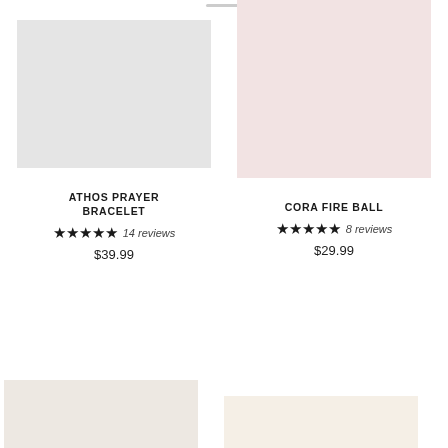[Figure (photo): Light gray product image placeholder for Athos Prayer Bracelet]
[Figure (photo): Light pink product image placeholder for Cora Fire Ball]
ATHOS PRAYER BRACELET
★★★★★ 14 reviews
$39.99
CORA FIRE BALL
★★★★★ 8 reviews
$29.99
[Figure (photo): Cream/off-white product image placeholder bottom left]
[Figure (photo): Warm beige product image placeholder bottom right]